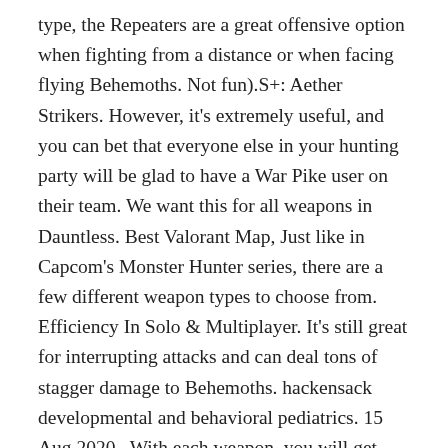type, the Repeaters are a great offensive option when fighting from a distance or when facing flying Behemoths. Not fun).S+: Aether Strikers. However, it's extremely useful, and you can bet that everyone else in your hunting party will be glad to have a War Pike user on their team. We want this for all weapons in Dauntless. Best Valorant Map, Just like in Capcom's Monster Hunter series, there are a few different weapon types to choose from. Efficiency In Solo & Multiplayer. It's still great for interrupting attacks and can deal tons of stagger damage to Behemoths. hackensack developmental and behavioral pediatrics. 15 Aug,2020 . With each weapon, you will get unique moves and mechanics. Stay tuned for more details. There's definitely a steep learning curve that comes with learning how to use the Axe, but once you've familiarized yourself with its timings, you'll find that it's remarkably easy to interrupt Behemoth attacks and stun them for seconds at a time. CycleOps M2 Smart Trainer. This